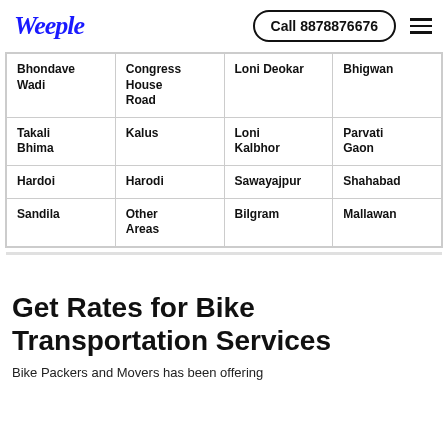Weeple  Call 8878876676
| Bhondave Wadi | Congress House Road | Loni Deokar | Bhigwan |
| Takali Bhima | Kalus | Loni Kalbhor | Parvati Gaon |
| Hardoi | Harodi | Sawayajpur | Shahabad |
| Sandila | Other Areas | Bilgram | Mallawan |
Get Rates for Bike Transportation Services
Bike Packers and Movers has been offering